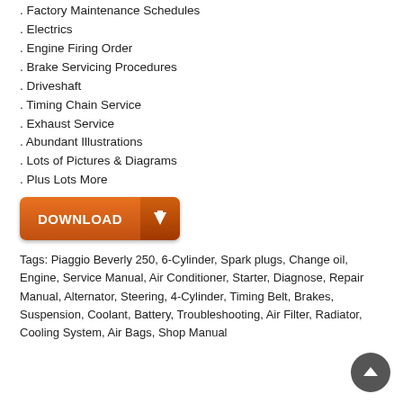. Factory Maintenance Schedules
. Electrics
. Engine Firing Order
. Brake Servicing Procedures
. Driveshaft
. Timing Chain Service
. Exhaust Service
. Abundant Illustrations
. Lots of Pictures & Diagrams
. Plus Lots More
[Figure (other): Orange download button with arrow icon]
Tags: Piaggio Beverly 250, 6-Cylinder, Spark plugs, Change oil, Engine, Service Manual, Air Conditioner, Starter, Diagnose, Repair Manual, Alternator, Steering, 4-Cylinder, Timing Belt, Brakes, Suspension, Coolant, Battery, Troubleshooting, Air Filter, Radiator, Cooling System, Air Bags, Shop Manual